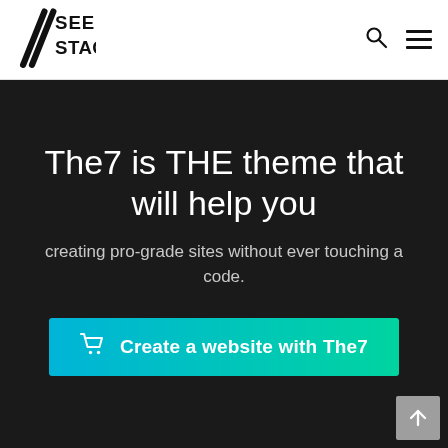SEE STAGE — navigation header with logo, search icon, and menu icon
The7 is THE theme that will help you
creating pro-grade sites without ever touching a code.
🛒 Create a website with The7